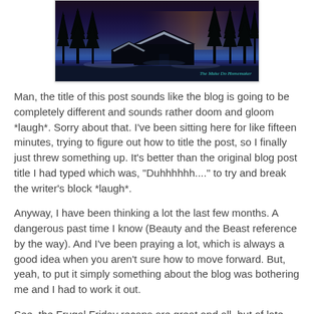[Figure (photo): Winter twilight scene showing a dark house or barn with snow on the roof, surrounded by bare trees silhouetted against a deep blue-purple dusk sky. A teal watermark reads 'The Make Do Homemaker' in the lower right corner.]
Man, the title of this post sounds like the blog is going to be completely different and sounds rather doom and gloom *laugh*.  Sorry about that.  I've been sitting here for like fifteen minutes, trying to figure out how to title the post, so I finally just threw something up.  It's better than the original blog post title I had typed which was, "Duhhhhhh...." to try and break the writer's block *laugh*.
Anyway, I have been thinking a lot the last few months.  A dangerous past time I know (Beauty and the Beast reference by the way).  And I've been praying a lot, which is always a good idea when you aren't sure how to move forward.  But, yeah, to put it simply something about the blog was bothering me and I had to work it out.
See, the Frugal Friday recaps are great and all, but of late they have been hard to put together and honestly they kind